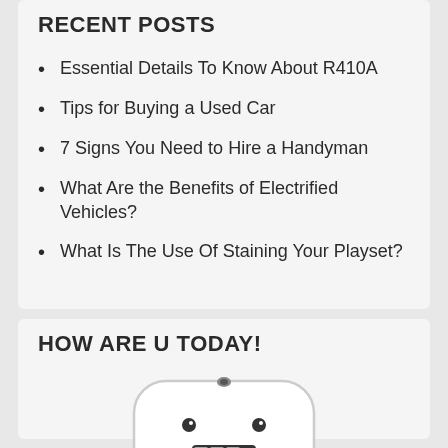RECENT POSTS
Essential Details To Know About R410A
Tips for Buying a Used Car
7 Signs You Need to Hire a Handyman
What Are the Benefits of Electrified Vehicles?
What Is The Use Of Staining Your Playset?
HOW ARE U TODAY!
[Figure (illustration): A cartoon robot face illustration showing a white rounded square robot head with a small camera lens on top, two dot eyes and a rectangular mouth on a light gray background]